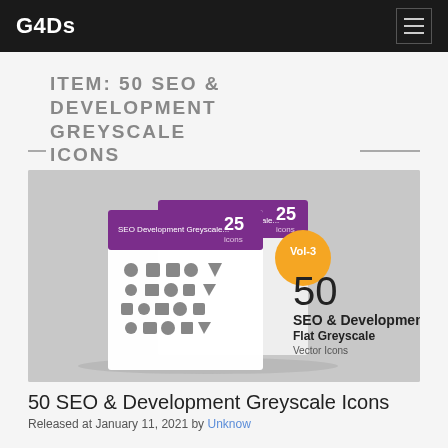G4Ds
ITEM: 50 SEO & DEVELOPMENT GREYSCALE ICONS
[Figure (photo): Product mockup showing two icon set booklets with 50 SEO & Development Flat Greyscale Vector Icons, Vol-3, displayed on a grey background with greyscale icons visible]
50 SEO & Development Greyscale Icons
Released at January 11, 2021 by Unknow